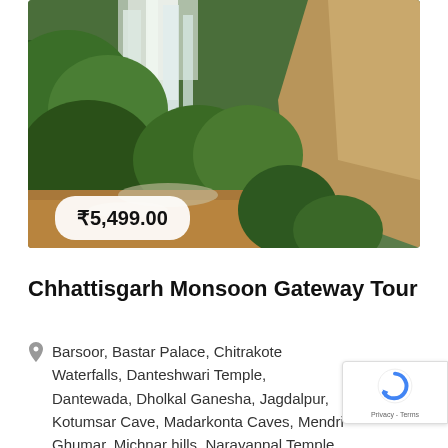[Figure (photo): Aerial view of a large waterfall (Chitrakote-style) surrounded by dense green jungle and orange-brown muddy water below, with rocky cliffs on the right.]
₹5,499.00
Chhattisgarh Monsoon Gateway Tour
Barsoor, Bastar Palace, Chitrakote Waterfalls, Danteshwari Temple, Dantewada, Dholkal Ganesha, Jagdalpur, Kotumsar Cave, Madarkonta Caves, Mendri Ghumar, Michnar hills, Narayanpal Temple, Tande Ghumar, Tirathgarh Waterfalls, Taner...